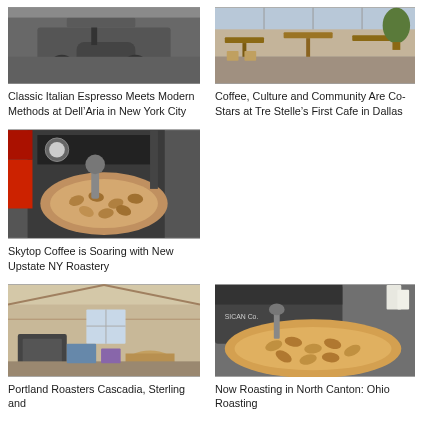[Figure (photo): A scooter parked inside or near a coffee shop, dark interior]
Classic Italian Espresso Meets Modern Methods at Dell’Aria in New York City
[Figure (photo): Tables and chairs in a cafe with windows and plants]
Coffee, Culture and Community Are Co-Stars at Tre Stelle’s First Cafe in Dallas
[Figure (photo): Coffee roasting machine with beans in a drum roaster]
Skytop Coffee is Soaring with New Upstate NY Roastery
[Figure (photo): Interior of a roastery warehouse with equipment]
Portland Roasters Cascadia, Sterling and
[Figure (photo): Close-up of a coffee roasting machine drum with beans]
Now Roasting in North Canton: Ohio Roasting